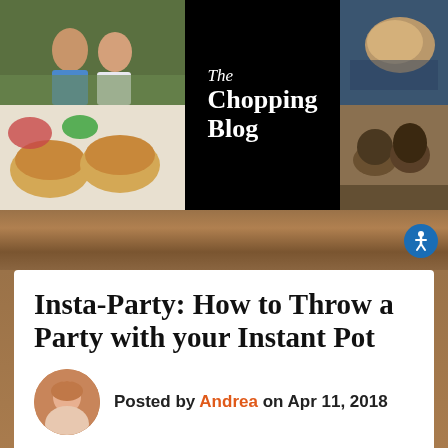[Figure (photo): The Chopping Blog banner collage with food photos, logo, couple photo, tacos, mushrooms, and wine glasses]
Insta-Party: How to Throw a Party with your Instant Pot
Posted by Andrea on Apr 11, 2018
Find me on: [Facebook] [LinkedIn] [Twitter]
Tweet | Share | Like 1 | Share